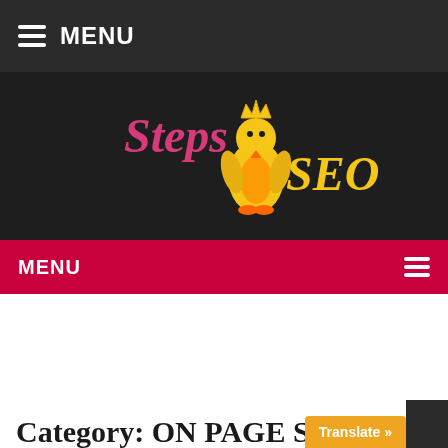MENU
[Figure (logo): Steps SEO logo with a penguin wearing a crown, text 'Steps' in pink cursive and 'SEO' in yellow cursive]
MENU
Category: ON PAGE S…